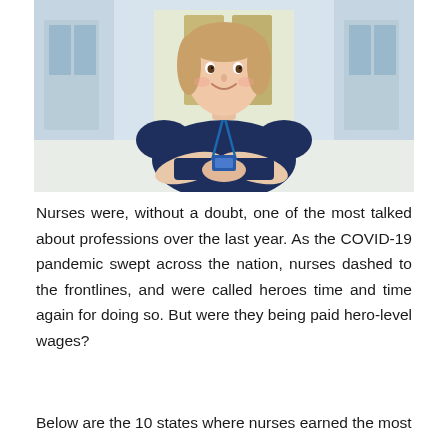[Figure (photo): A smiling female nurse in dark navy blue scrubs with a lanyard, arms crossed, standing in a bright hospital corridor hallway background.]
Nurses were, without a doubt, one of the most talked about professions over the last year. As the COVID-19 pandemic swept across the nation, nurses dashed to the frontlines, and were called heroes time and time again for doing so. But were they being paid hero-level wages?
Below are the 10 states where nurses earned the most